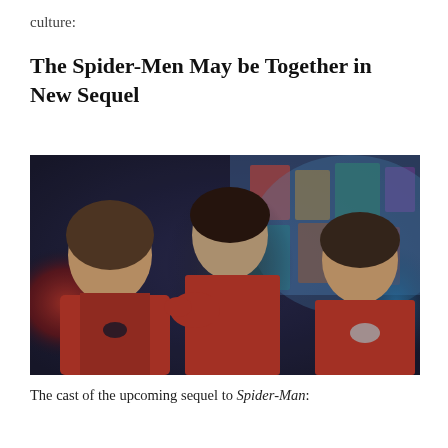culture:
The Spider-Men May be Together in New Sequel
[Figure (photo): Three actors in Spider-Man costumes standing together: Tom Holland on the left in a red and blue MCU suit, Andrew Garfield in the center in a red and blue suit reaching forward, and Tobey Maguire on the right in a classic red and blue suit with silver spider logo, set against a colorful comic book backdrop.]
The cast of the upcoming sequel to Spider-Man: